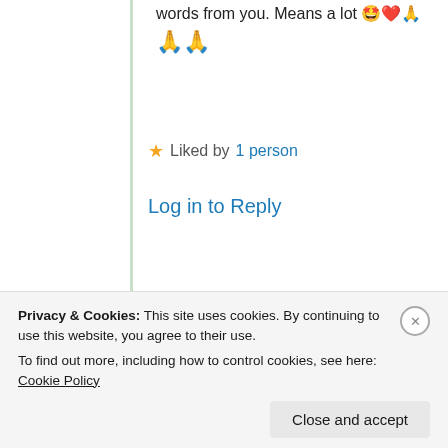words from you. Means a lot 🤩❤️🙏🙏🙏
⭐ Liked by 1 person
Log in to Reply
Cindy Georgakas
25th Aug 2021 at 3:29 am
Privacy & Cookies: This site uses cookies. By continuing to use this website, you agree to their use. To find out more, including how to control cookies, see here: Cookie Policy
Close and accept